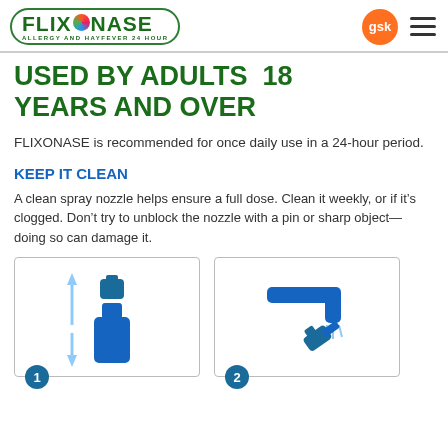FLIXONASE ALLERGY AND HAYFEVER 24 HOUR | gsk | menu
USED BY ADULTS 18 YEARS AND OVER
FLIXONASE is recommended for once daily use in a 24-hour period.
KEEP IT CLEAN
A clean spray nozzle helps ensure a full dose. Clean it weekly, or if it’s clogged. Don’t try to unblock the nozzle with a pin or sharp object— doing so can damage it.
[Figure (illustration): Step 1: Illustration showing a nasal spray bottle with the nozzle being removed, with up and down arrows indicating detachment.]
[Figure (illustration): Step 2: Illustration showing the spray nozzle being rinsed under running water from a tap.]